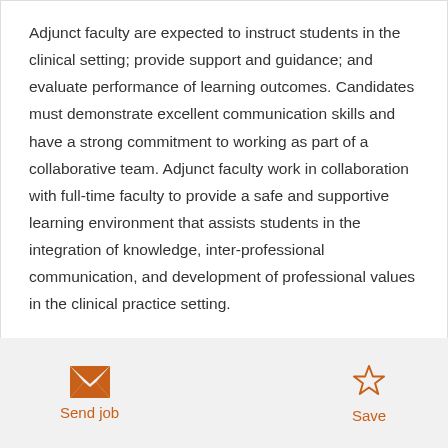Adjunct faculty are expected to instruct students in the clinical setting; provide support and guidance; and evaluate performance of learning outcomes. Candidates must demonstrate excellent communication skills and have a strong commitment to working as part of a collaborative team. Adjunct faculty work in collaboration with full-time faculty to provide a safe and supportive learning environment that assists students in the integration of knowledge, inter-professional communication, and development of professional values in the clinical practice setting.
Send job
Save